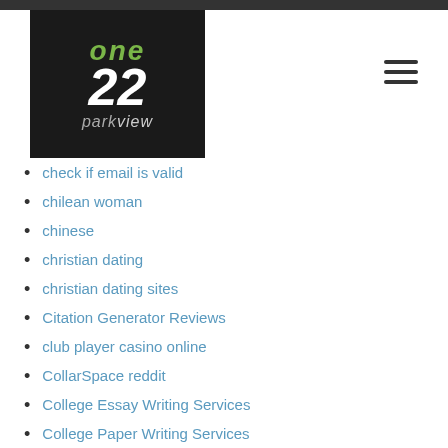[Figure (logo): One22 Parkview logo on dark background with green 'one', white '22', and gray 'parkview' text]
check if email is valid
chilean woman
chinese
christian dating
christian dating sites
Citation Generator Reviews
club player casino online
CollarSpace reddit
College Essay Writing Services
College Paper Writing Services
College Papers